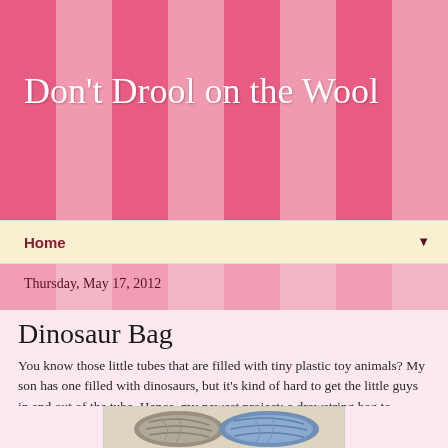Don't Drool on the Wool
Home
Thursday, May 17, 2012
Dinosaur Bag
You know those little tubes that are filled with tiny plastic toy animals? My son has one filled with dinosaurs, but it's kind of hard to get the little guys in and out of the tube. Hence, my newest project: a drawstring bag to contain all his little toys. I'm using Paton's Grace, which is quite shiny and is very nice to work with.
[Figure (photo): Two balls of yarn, one grey/taupe and one blue, photographed on a light surface]